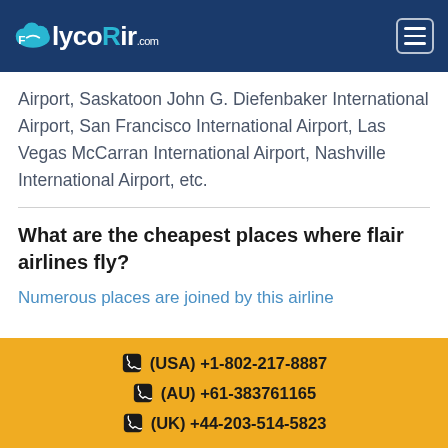FlycoAir.com
Airport, Saskatoon John G. Diefenbaker International Airport, San Francisco International Airport, Las Vegas McCarran International Airport, Nashville International Airport, etc.
What are the cheapest places where flair airlines fly?
Numerous places are joined by this airline
(USA) +1-802-217-8887 | (AU) +61-383761165 | (UK) +44-203-514-5823